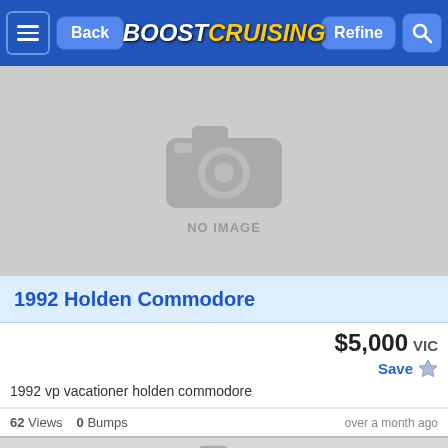BoostCruising — Back | Refine | Search
[Figure (photo): No image placeholder with camera icon and text NO IMAGE]
1992 Holden Commodore
$5,000 VIC
Save
1992 vp vacationer holden commodore
62 Views  0 Bumps  over a month ago
[Figure (photo): No image placeholder with camera icon and text NO IMAGE]